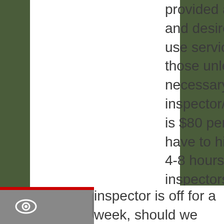provided as expected and desired). We do not use services such as those unless absolutely necessary. A private inspector/plan reviewer is $80 per hour and we have to hire for minimum 4-8 hours. Often, these inspectors have to travel in from neighboring jurisdictions as there are none available in our area. For example, if our electrical inspector is off for a week, should we